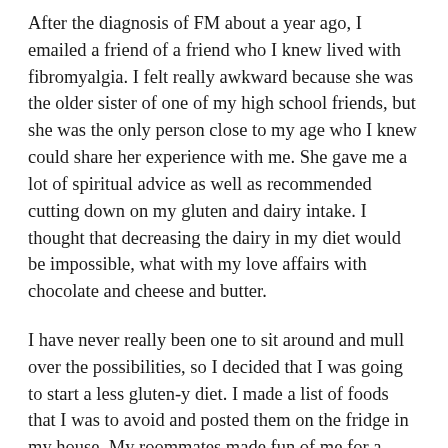After the diagnosis of FM about a year ago, I emailed a friend of a friend who I knew lived with fibromyalgia. I felt really awkward because she was the older sister of one of my high school friends, but she was the only person close to my age who I knew could share her experience with me. She gave me a lot of spiritual advice as well as recommended cutting down on my gluten and dairy intake. I thought that decreasing the dairy in my diet would be impossible, what with my love affairs with chocolate and cheese and butter.
I have never really been one to sit around and mull over the possibilities, so I decided that I was going to start a less gluten-y diet. I made a list of foods that I was to avoid and posted them on the fridge in my house. My roommates made fun of me for a little bit, but when they realized how serious I was about this diet, they even helped me cut out some foods that are bad for me.
I wanted to manage my pain better. I began eating more rice instead of pasta and used gluten-free flour in my baking.